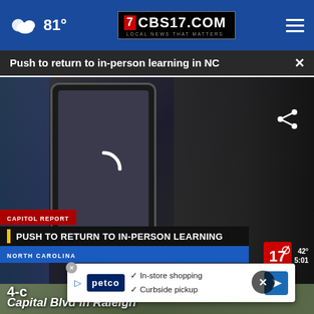81° CBS17.COM LOCAL NEWS THAT MATTERS
Push to return to in-person learning in NC
[Figure (screenshot): Video player showing a phone screen with loading spinner. Lower third graphic reads: CAPITOL REPORT / PUSH TO RETURN TO IN-PERSON LEARNING / NORTH CAROLINA. Station bug shows 17 logo, 42°, 5:01. Share icon visible top right.]
[Figure (photo): Aerial or street-level photo beneath the video, partially covered by an advertisement overlay for Petco showing 'In-store shopping' and 'Curbside pickup' options.]
4-c
Capital Blvd in Raleigh